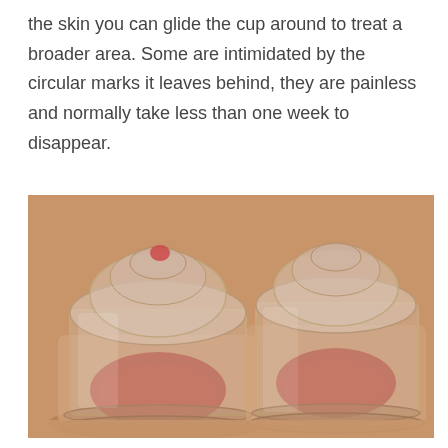the skin you can glide the cup around to treat a broader area. Some are intimidated by the circular marks it leaves behind, they are painless and normally take less than one week to disappear.
[Figure (photo): Two transparent plastic cupping therapy cups placed on skin, each showing suctioned skin pulled up inside the cup. The cups are cylindrical with a ridged base and a squeezable top dome.]